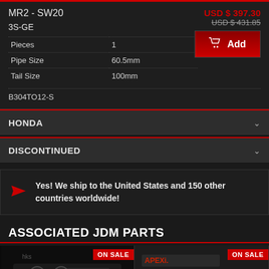MR2 - SW20
USD $ 397.30
USD $ 431.85
3S-GE
| Pieces | 1 |
| Pipe Size | 60.5mm |
| Tail Size | 100mm |
B304TO12-S
HONDA
DISCONTINUED
Yes! We ship to the United States and 150 other countries worldwide!
ASSOCIATED JDM PARTS
[Figure (photo): Product thumbnail with ON SALE badge - exhaust system photo]
[Figure (photo): Product thumbnail with ON SALE badge - APEXi branded product photo]